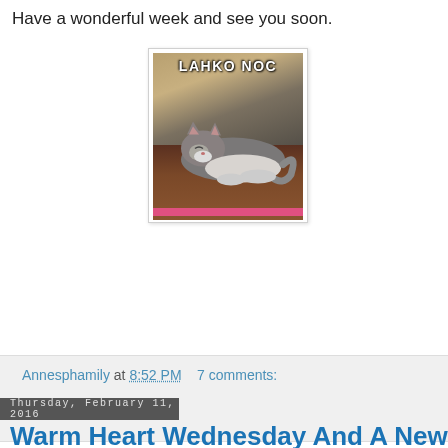Have a wonderful week and see you soon.
[Figure (photo): Meme image of a sleeping kitten with text 'LAHKO NOC' at the top, cat lying on a wooden surface, pink bar at the bottom.]
Annesphamily at 8:52 PM   7 comments:
Thursday, February 11, 2016
Warm Heart Wednesday And A New